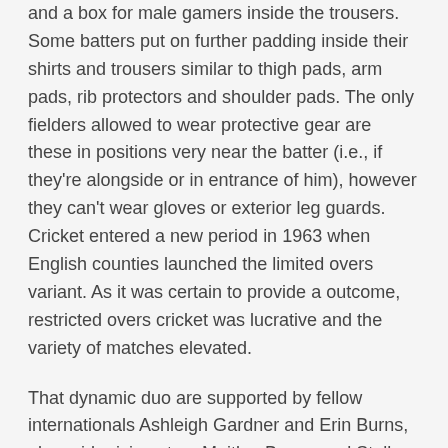and a box for male gamers inside the trousers. Some batters put on further padding inside their shirts and trousers similar to thigh pads, arm pads, rib protectors and shoulder pads. The only fielders allowed to wear protective gear are these in positions very near the batter (i.e., if they're alongside or in entrance of him), however they can't wear gloves or exterior leg guards. Cricket entered a new period in 1963 when English counties launched the limited overs variant. As it was certain to provide a outcome, restricted overs cricket was lucrative and the variety of matches elevated.
That dynamic duo are supported by fellow internationals Ashleigh Gardner and Erin Burns, alongside rising stars Maitlan Brown and Stella Campbell. He has led IPL facet Mumbai Indians to a record 5 titles, and had already taken over the white-ball captaincy following Kohli's shock departure. Rohit, often identified as the "Hitman" for his big tons of and six-hitting, this month led the team to a one-day sequence sweep over the West Indies. The world's earliest known cricket match was a village cricket assembly in Kent